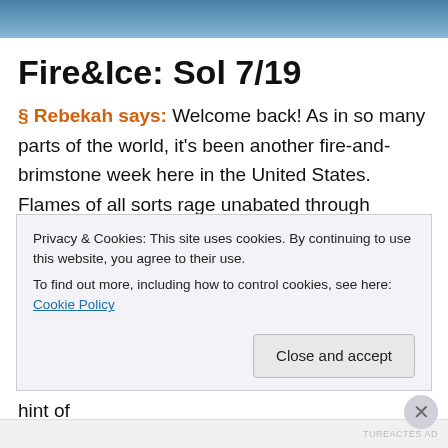[Figure (photo): Blue sky/background image strip at top of page]
Fire&Ice: Sol 7/19
§ Rebekah says: Welcome back! As in so many parts of the world, it's been another fire-and-brimstone week here in the United States. Flames of all sorts rage unabated through forests and courtrooms, hospitals and hearts. This week many of us especially anguish to grasp how police, in a wild, thunderous assault, could have killed a young woman who'd been asleep in her own apartment— Breonna Taylor—yet escape even the smallest hint of
Privacy & Cookies: This site uses cookies. By continuing to use this website, you agree to their use.
To find out more, including how to control cookies, see here: Cookie Policy
Close and accept